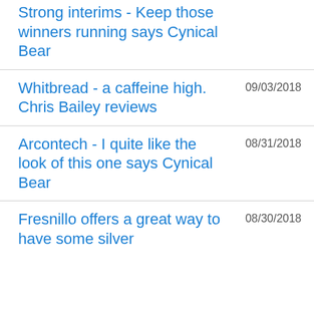Strong interims - Keep those winners running says Cynical Bear
Whitbread - a caffeine high. Chris Bailey reviews
Arcontech - I quite like the look of this one says Cynical Bear
Fresnillo offers a great way to have some silver